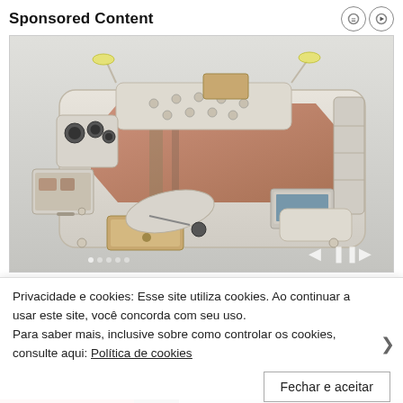Sponsored Content
[Figure (photo): A large multifunctional smart bed with built-in speakers, reading lamps, storage drawers, massage chair attachment, laptop tray, and various accessories shown in an exploded/display view on a light gray background.]
Privacidade e cookies: Esse site utiliza cookies. Ao continuar a usar este site, você concorda com seu uso.
Para saber mais, inclusive sobre como controlar os cookies, consulte aqui: Política de cookies
Fechar e aceitar